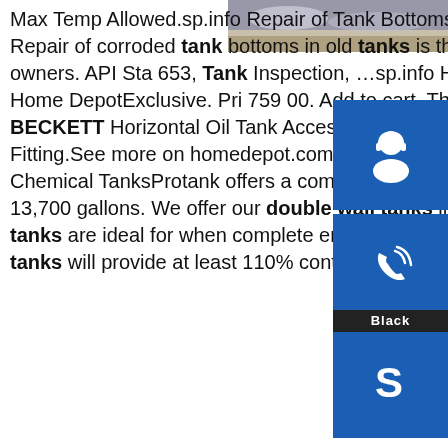[Figure (photo): Partial photo of tanks or industrial/outdoor scene at upper right]
[Figure (illustration): Blue sidebar button with headset/customer service icon]
[Figure (illustration): Blue sidebar button with phone/call icon]
[Figure (illustration): Blue sidebar button with Skype icon]
Max Temp Allowed.sp.info Repair of Tank Bottoms in Atmospheric Storage TanksMay 25, 2016 · Repair of corroded tank bottoms in old tanks is thus a common maintenance undertaking by tank owners. API Sta 653, Tank Inspection, …sp.info Horizontal 275 Gal. Oil Tank-275HOT - The Home DepotExclusive. Price 759 00. Add to cart. This item: Horizontal 275 Gal. Oil Tank. $759.00. BECKETT Horizontal Oil Tank Accessory Kit. $99.00. Everbilt 3/8 in. Flare x 3/8 Brass Adapter Fitting.See more on homedepot.comsp.info Double Wall Storage Tanks - Industrial Grade Chemical TanksProtank offers a complete line of plastic double wall tanks ranging from 15 to 13,700 gallons. We offer our double wall tanks in either HDPE or XLPE. Plastic double wall tanks are ideal for when complete enclosed containment is necessary. All of our double wall tanks will provide at least 110% containment of the primary storage tank.